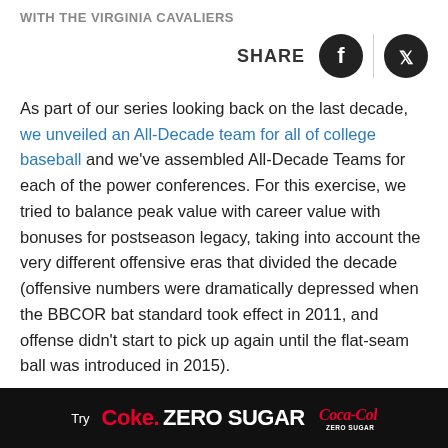WITH THE VIRGINIA CAVALIERS
As part of our series looking back on the last decade, we unveiled an All-Decade team for all of college baseball and we've assembled All-Decade Teams for each of the power conferences. For this exercise, we tried to balance peak value with career value with bonuses for postseason legacy, taking into account the very different offensive eras that divided the decade (offensive numbers were dramatically depressed when the BBCOR bat standard took effect in 2011, and offense didn't start to pick up again until the flat-seam ball was introduced in 2015).
AN EARLY LOOK AT 2020: Our preseason top 25 for the 2020
[Figure (other): Coke Zero Sugar advertisement banner at bottom of page]